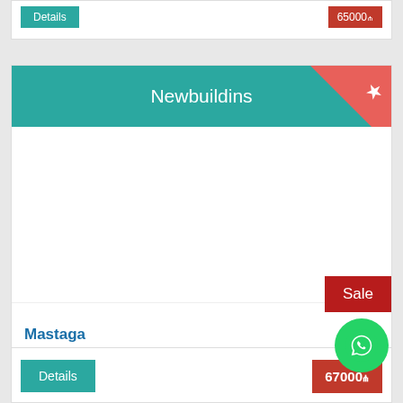[Figure (screenshot): Partial top card showing Details button and partially visible price button]
Newbuildins
[Figure (photo): Blank white image area for property listing]
Sale
Mastaga
Size precise
Room
5 və d
Details
67000₼